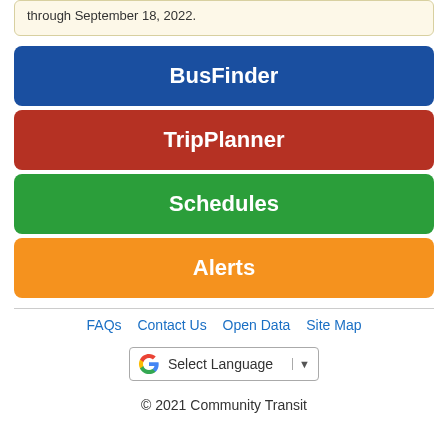through September 18, 2022.
BusFinder
TripPlanner
Schedules
Alerts
FAQs  Contact Us  Open Data  Site Map
[Figure (other): Google Translate widget with 'Select Language' label and dropdown arrow]
© 2021 Community Transit